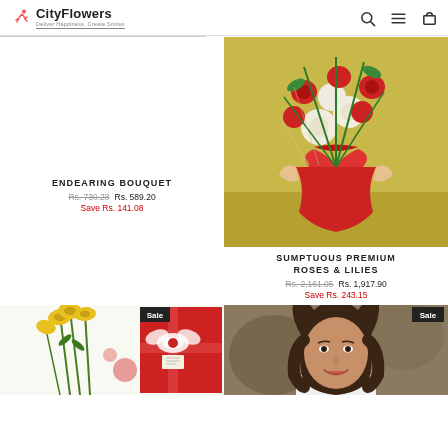CityFlowers — Deliver Happiness, Create Smiles | Search, Menu, Cart icons
ENDEARING BOUQUET — Rs. 730.28  Rs. 589.20  Save Rs. 141.08
[Figure (photo): Bouquet of red roses and white lilies wrapped in red packaging]
SUMPTUOUS PREMIUM ROSES & LILIES — Rs. 2,161.05  Rs. 1,917.90  Save Rs. 243.15
[Figure (photo): Yellow lilies bouquet — Sale badge visible, red gift box overlay]
[Figure (photo): Woman smiling — Sale badge top right]